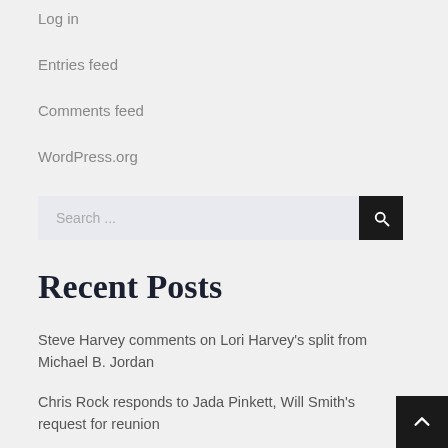Log in
Entries feed
Comments feed
WordPress.org
Search ...
Recent Posts
Steve Harvey comments on Lori Harvey's split from Michael B. Jordan
Chris Rock responds to Jada Pinkett, Will Smith's request for reunion